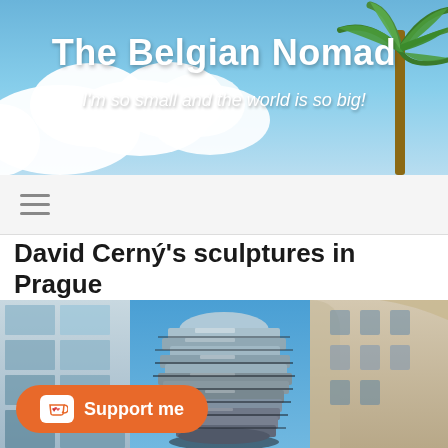[Figure (photo): Travel blog header banner with blue sky, white clouds, and palm tree on the right side]
The Belgian Nomad
I'm so small and the world is so big!
Navigation hamburger menu icon
David Cerný's sculptures in Prague
[Figure (photo): Large metallic reflective sculpture (David Cerný's rotating head) in Prague city square, surrounded by modern and historic buildings under blue sky]
Support me